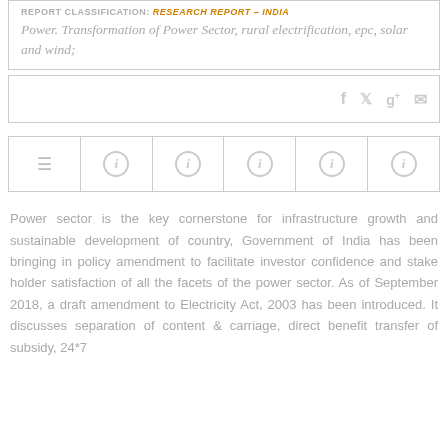REPORT CLASSIFICATION: Research Report – India Power. Transformation of Power Sector, rural electrification, epc, solar and wind;
[Figure (other): Social sharing icons bar: Facebook, Twitter, Google+, Email]
[Figure (other): Navigation icon bar with list/menu icon and five info circle icons]
Power sector is the key cornerstone for infrastructure growth and sustainable development of country, Government of India has been bringing in policy amendment to facilitate investor confidence and stake holder satisfaction of all the facets of the power sector. As of September 2018, a draft amendment to Electricity Act, 2003 has been introduced. It discusses separation of content & carriage, direct benefit transfer of subsidy, 24*7